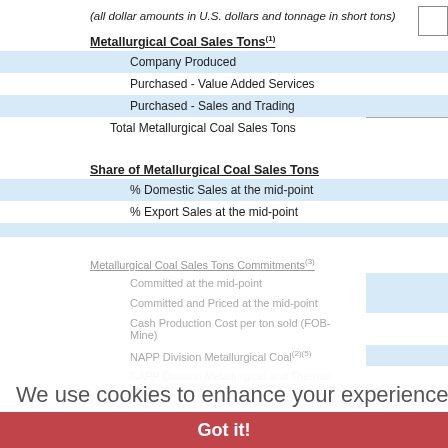(all dollar amounts in U.S. dollars and tonnage in short tons)
Metallurgical Coal Sales Tons(1)
|  |  |
| --- | --- |
| Company Produced |  |
| Purchased - Value Added Services |  |
| Purchased - Sales and Trading |  |
| Total Metallurgical Coal Sales Tons |  |
Share of Metallurgical Coal Sales Tons
|  |  |
| --- | --- |
| % Domestic Sales at the mid-point |  |
| % Export Sales at the mid-point |  |
Metallurgical Coal Sales Tons Commitments(3)
|  |  |
| --- | --- |
| Committed at the mid-point |  |
| Committed and Priced at the mid-point |  |
| Cash Production Cost per ton sold (FOB-Mine) |  |
| NAPP Division Metallurgical Coal(2)(5) |  |
| CAPP Division Metallurgical and Thermal Coal(2) |  |
General and Administrative Expenses(4)
|  |  |
| --- | --- |
| NAPP Division |  |
| CAPP Division |  |
| Corporate Division |  |